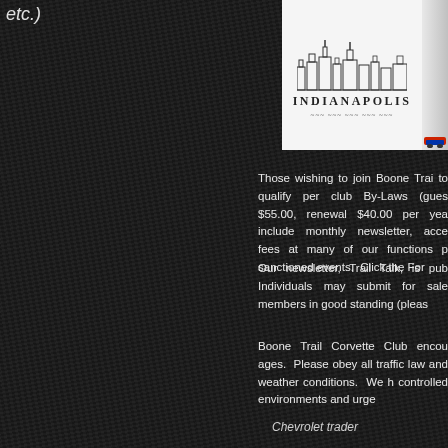etc.)
[Figure (logo): Indianapolis city logo with skyline illustration and stylized text reading INDIANAPOLIS with decorative underline]
Those wishing to join Boone Trail to qualify per club By-Laws (gues $55.00, renewal $40.00 per yea include monthly newsletter, acce fees at many of our functions p sanctioned events. Click the For
Our newsletter, Trail Talk, is pub Individuals may submit for sale members in good standing (pleas
Boone Trail Corvette Club encou ages. Please obey all traffic law and weather conditions. We h controlled environments and urge
Chevrolet trader